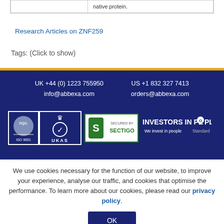|  |  |
| --- | --- |
|  | native protein. |
Research Articles on ZNF259
Tags: (Click to show)
UK +44 (0) 1223 755950  info@abbexa.com  US +1 832 327 7413  orders@abbexa.com
[Figure (logo): NQA ISO 9001, UKAS, Secured by Sectigo, Investors in People logos]
We use cookies necessary for the function of our website, to improve your experience, analyse our traffic, and cookies that optimise the performance. To learn more about our cookies, please read our privacy policy.